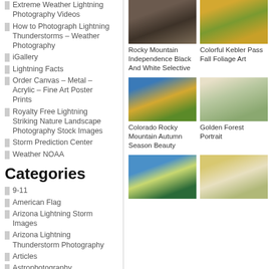Extreme Weather Lightning Photography Videos
How to Photograph Lightning Thunderstorms – Weather Photography
iGallery
Lightning Facts
Order Canvas – Metal – Acrylic – Fine Art Poster Prints
Royalty Free Lightning Striking Nature Landscape Photography Stock Images
Storm Prediction Center
Weather NOAA
Categories
9-11
American Flag
Arizona Lightning Storm Images
Arizona Lightning Thunderstorm Photography
Articles
Astrophotography
Autumn Fall Foliage Colors
Black and White Photography Prints for Sale
[Figure (photo): Rocky mountain dark landscape in black and white]
Rocky Mountain Independence Black And White Selective
[Figure (photo): Colorful yellow aspen trees fall foliage]
Colorful Kebler Pass Fall Foliage Art
[Figure (photo): Colorado Rocky Mountain autumn season with yellow aspens and snow-capped peaks]
Colorado Rocky Mountain Autumn Season Beauty
[Figure (photo): Golden forest of aspen tree trunks]
Golden Forest Portrait
[Figure (photo): Looking up through aspen trees at blue sky]
[Figure (photo): Golden aspen forest trunks close-up]